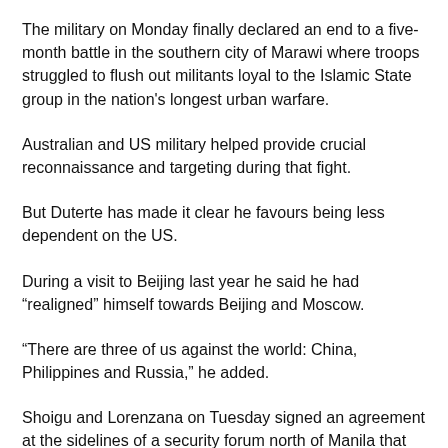The military on Monday finally declared an end to a five-month battle in the southern city of Marawi where troops struggled to flush out militants loyal to the Islamic State group in the nation's longest urban warfare.
Australian and US military helped provide crucial reconnaissance and targeting during that fight.
But Duterte has made it clear he favours being less dependent on the US.
During a visit to Beijing last year he said he had “realigned” himself towards Beijing and Moscow.
“There are three of us against the world: China, Philippines and Russia,” he added.
Shoigu and Lorenzana on Tuesday signed an agreement at the sidelines of a security forum north of Manila that covered defence cooperation in weapons research and exchange of experts, according to statements from their ministries.